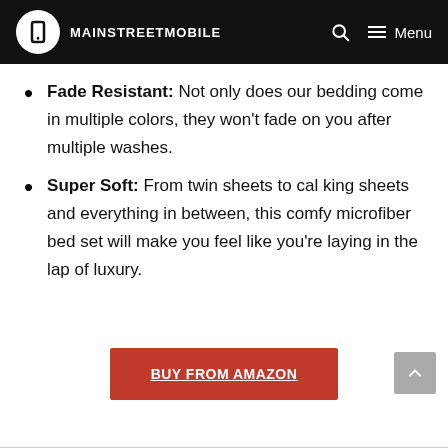MAINSTREETMOBILE
Fade Resistant: Not only does our bedding come in multiple colors, they won't fade on you after multiple washes.
Super Soft: From twin sheets to cal king sheets and everything in between, this comfy microfiber bed set will make you feel like you're laying in the lap of luxury.
BUY FROM AMAZON